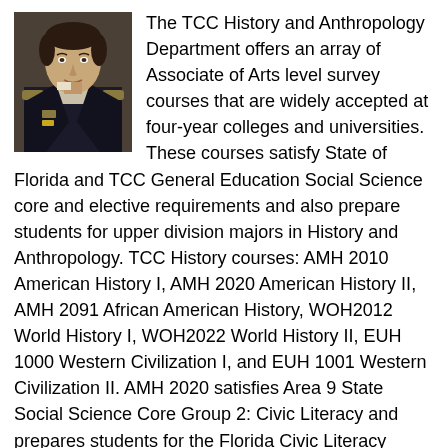[Figure (photo): Portrait painting of a man in military uniform, dark coat with ornate details, appearing to be a historical figure (Napoleon-style portrait).]
The TCC History and Anthropology Department offers an array of Associate of Arts level survey courses that are widely accepted at four-year colleges and universities. These courses satisfy State of Florida and TCC General Education Social Science core and elective requirements and also prepare students for upper division majors in History and Anthropology. TCC History courses: AMH 2010 American History I, AMH 2020 American History II, AMH 2091 African American History, WOH2012 World History I, WOH2022 World History II, EUH 1000 Western Civilization I, and EUH 1001 Western Civilization II. AMH 2020 satisfies Area 9 State Social Science Core Group 2: Civic Literacy and prepares students for the Florida Civic Literacy Exam. The other History courses satisfy Area 10 TCC Social Science Core Group 1 and can also be used to meet TCC Associate of Arts elective credit requirements. TCC Anthropology courses: ANT 2000 General Anthropology, AMH 2140 Introduction